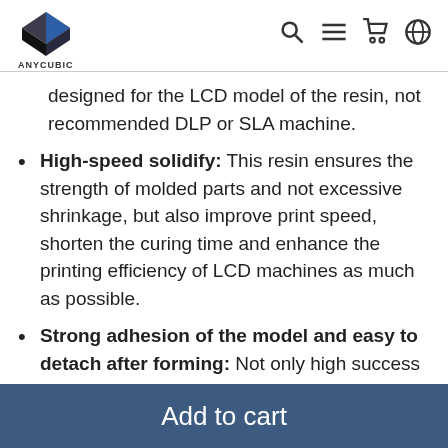ANYCUBIC
designed for the LCD model of the resin, not recommended DLP or SLA machine.
High-speed solidify: This resin ensures the strength of molded parts and not excessive shrinkage, but also improve print speed, shorten the curing time and enhance the printing efficiency of LCD machines as much as possible.
Strong adhesion of the model and easy to detach after forming: Not only high success rate of printing and precision, but also to minimize resin release force and adhesion, so that the
Add to cart